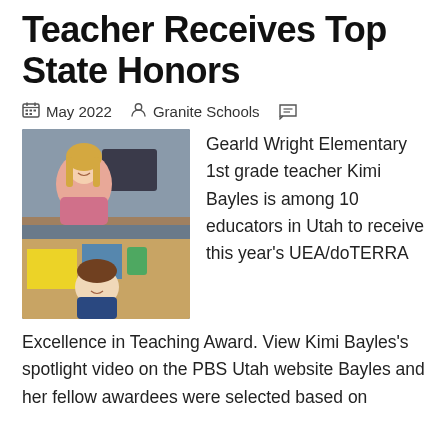Teacher Receives Top State Honors
May 2022  Granite Schools
[Figure (photo): A female teacher smiling and leaning over a table with a young boy, surrounded by colorful craft supplies in a classroom setting.]
Gearld Wright Elementary 1st grade teacher Kimi Bayles is among 10 educators in Utah to receive this year's UEA/doTERRA Excellence in Teaching Award. View Kimi Bayles's spotlight video on the PBS Utah website Bayles and her fellow awardees were selected based on